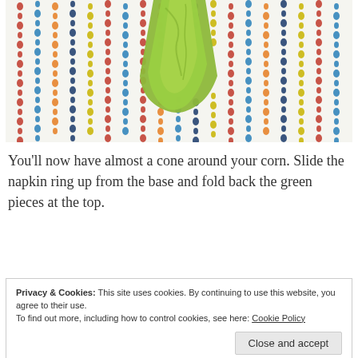[Figure (photo): Photo of green fabric twisted into an almost-cone shape on a white fabric with colorful dotted stripe pattern]
You'll now have almost a cone around your corn. Slide the napkin ring up from the base and fold back the green pieces at the top.
Privacy & Cookies: This site uses cookies. By continuing to use this website, you agree to their use. To find out more, including how to control cookies, see here: Cookie Policy
Close and accept